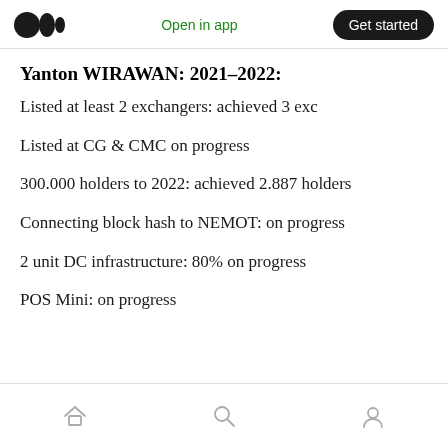Medium logo | Open in app | Get started
Yanton WIRAWAN: 2021–2022:
Listed at least 2 exchangers: achieved 3 exc
Listed at CG & CMC on progress
300.000 holders to 2022: achieved 2.887 holders
Connecting block hash to NEMOT: on progress
2 unit DC infrastructure: 80% on progress
POS Mini: on progress
Home | Search | Profile